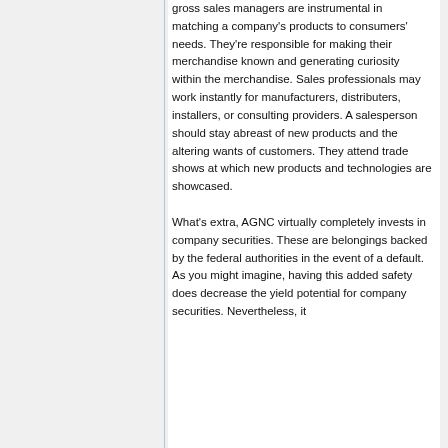gross sales managers are instrumental in matching a company's products to consumers' needs. They're responsible for making their merchandise known and generating curiosity within the merchandise. Sales professionals may work instantly for manufacturers, distributers, installers, or consulting providers. A salesperson should stay abreast of new products and the altering wants of customers. They attend trade shows at which new products and technologies are showcased.
What's extra, AGNC virtually completely invests in company securities. These are belongings backed by the federal authorities in the event of a default. As you might imagine, having this added safety does decrease the yield potential for company securities. Nevertheless, it